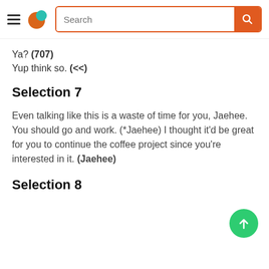Search
Ya? (707)
Yup think so. (<<)
Selection 7
Even talking like this is a waste of time for you, Jaehee. You should go and work. (*Jaehee) I thought it'd be great for you to continue the coffee project since you're interested in it. (Jaehee)
Selection 8